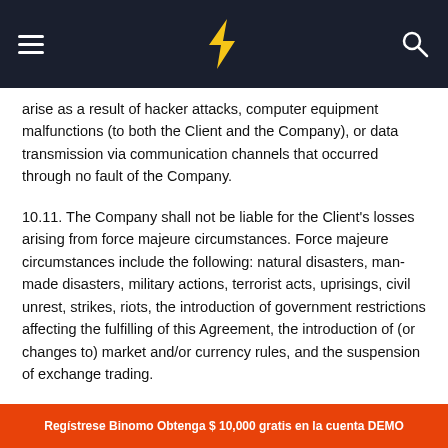Binomo navigation header
arise as a result of hacker attacks, computer equipment malfunctions (to both the Client and the Company), or data transmission via communication channels that occurred through no fault of the Company.
10.11. The Company shall not be liable for the Client's losses arising from force majeure circumstances. Force majeure circumstances include the following: natural disasters, man-made disasters, military actions, terrorist acts, uprisings, civil unrest, strikes, riots, the introduction of government restrictions affecting the fulfilling of this Agreement, the introduction of (or changes to) market and/or currency rules, and the suspension of exchange trading.
Regístrese Binomo Obtenga $ 10,000 gratis en la cuenta DEMO